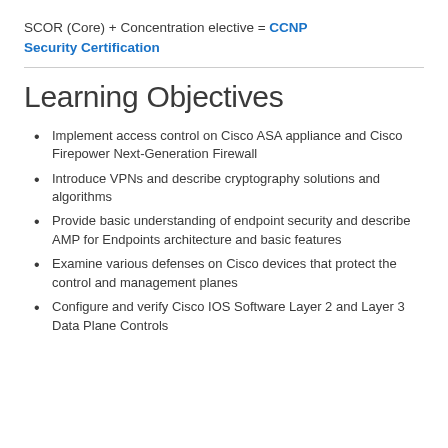SCOR (Core) + Concentration elective = CCNP Security Certification
Learning Objectives
Implement access control on Cisco ASA appliance and Cisco Firepower Next-Generation Firewall
Introduce VPNs and describe cryptography solutions and algorithms
Provide basic understanding of endpoint security and describe AMP for Endpoints architecture and basic features
Examine various defenses on Cisco devices that protect the control and management planes
Configure and verify Cisco IOS Software Layer 2 and Layer 3 Data Plane Controls